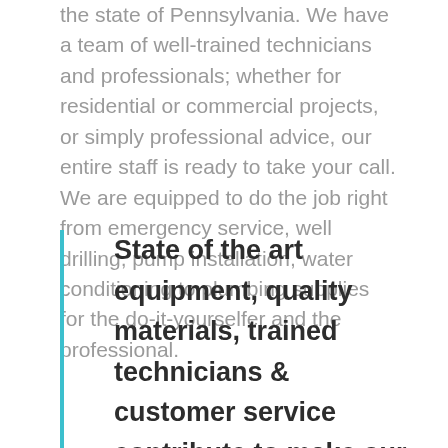the state of Pennsylvania. We have a team of well-trained technicians and professionals; whether for residential or commercial projects, or simply professional advice, our entire staff is ready to take your call. We are equipped to do the job right from emergency service, well drilling, pump installation, water conditioning to plumbing supplies for the do-it-yourselfer and the professional.
State of the art equipment, quality materials, trained technicians & customer service contribute to make our company a success in N.E.P.A.